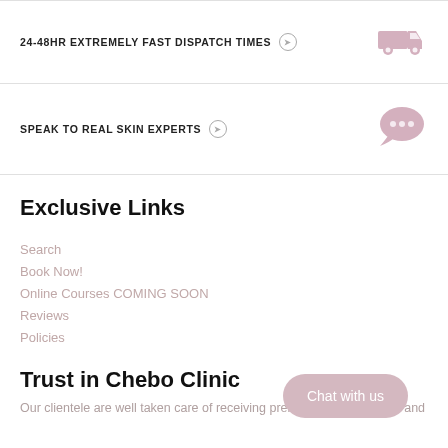24-48HR EXTREMELY FAST DISPATCH TIMES ⊙
SPEAK TO REAL SKIN EXPERTS ⊙
Exclusive Links
Search
Book Now!
Online Courses COMING SOON
Reviews
Policies
Trust in Chebo Clinic
Our clientele are well taken care of receiving premium quality service and